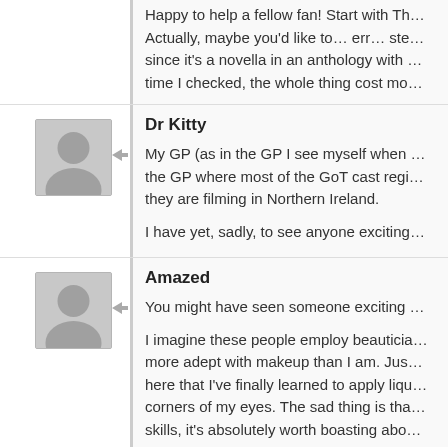Happy to help a fellow fan! Start with Th… Actually, maybe you'd like to… err… ste… since it's a novella in an anthology with … time I checked, the whole thing cost mo…
Dr Kitty
My GP (as in the GP I see myself when … the GP where most of the GoT cast regi… they are filming in Northern Ireland.
I have yet, sadly, to see anyone exciting…
Amazed
You might have seen someone exciting…
I imagine these people employ beauticia… more adept with makeup than I am. Jus… here that I've finally learned to apply liqu… corners of my eyes. The sad thing is tha… skills, it's absolutely worth boasting abo…